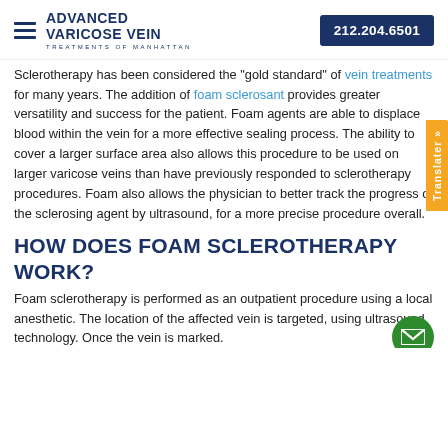ADVANCED VARICOSE VEIN TREATMENTS OF MANHATTAN | 212.204.6501
Sclerotherapy has been considered the "gold standard" of vein treatments for many years. The addition of foam sclerosant provides greater versatility and success for the patient. Foam agents are able to displace blood within the vein for a more effective sealing process. The ability to cover a larger surface area also allows this procedure to be used on larger varicose veins than have previously responded to sclerotherapy procedures. Foam also allows the physician to better track the progress of the sclerosing agent by ultrasound, for a more precise procedure overall.
HOW DOES FOAM SCLEROTHERAPY WORK?
Foam sclerotherapy is performed as an outpatient procedure using a local anesthetic. The location of the affected vein is targeted, using ultrasound technology. Once the vein is marked.